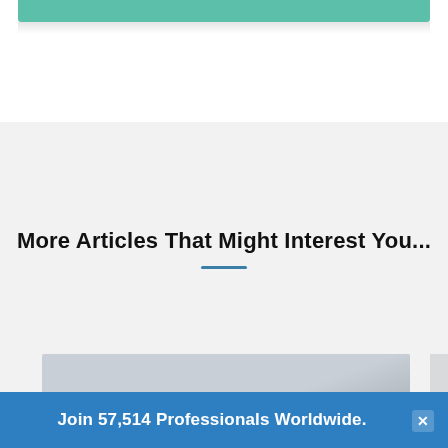[Figure (other): Teal/green bar at top of page, partially visible, representing a UI element or banner]
More Articles That Might Interest You...
[Figure (photo): Blurred gray-toned photo, partially visible at bottom of page, representing an article thumbnail]
Join 57,514 Professionals Worldwide.